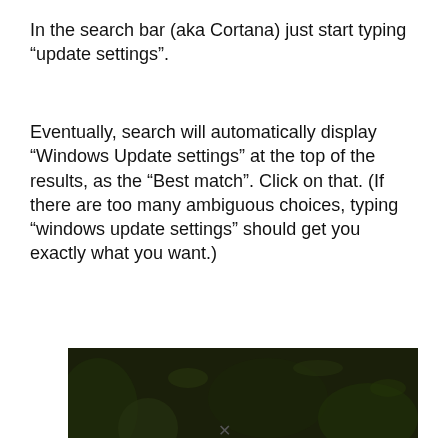In the search bar (aka Cortana) just start typing “update settings”.
Eventually, search will automatically display “Windows Update settings” at the top of the results, as the “Best match”. Click on that. (If there are too many ambiguous choices, typing “windows update settings” should get you exactly what you want.)
[Figure (other): Advertisement banner: dark forest background with an orangutan image. Text reads: 'Just $2 can protect 1 acre of irreplaceable forest homes in the Amazon. How many acres are you willing to protect?' with a green button labeled 'PROTECT FORESTS NOW']